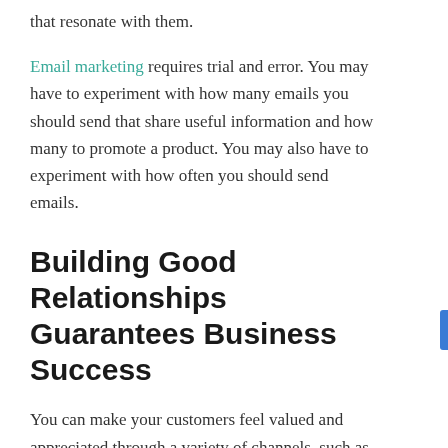that resonate with them.
Email marketing requires trial and error. You may have to experiment with how many emails you should send that share useful information and how many to promote a product. You may also have to experiment with how often you should send emails.
Building Good Relationships Guarantees Business Success
You can make your customers feel valued and appreciated through a variety of channels, such as writing, social media, YouTube, customer service, and email. When using these mediums, think of every point of contact with a customer as a chance to build a warm relationship with them.